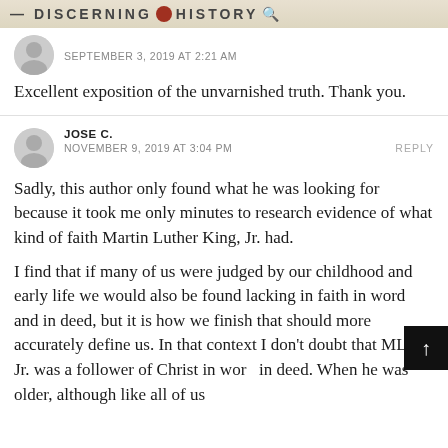DISCERNING HISTORY
SEPTEMBER 3, 2019 AT 2:21 AM
Excellent exposition of the unvarnished truth. Thank you.
JOSE C.
NOVEMBER 9, 2019 AT 3:04 PM
REPLY
Sadly, this author only found what he was looking for because it took me only minutes to research evidence of what kind of faith Martin Luther King, Jr. had.
I find that if many of us were judged by our childhood and early life we would also be found lacking in faith in word and in deed, but it is how we finish that should more accurately define us. In that context I don't doubt that MLK Jr. was a follower of Christ in word and in deed. When he was older, although like all of us